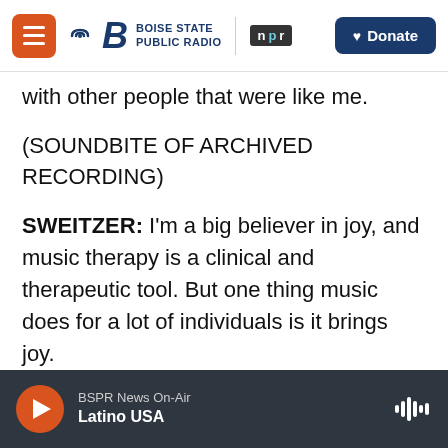Boise State Public Radio | NPR | Donate
with other people that were like me.
(SOUNDBITE OF ARCHIVED RECORDING)
SWEITZER: I'm a big believer in joy, and music therapy is a clinical and therapeutic tool. But one thing music does for a lot of individuals is it brings joy.
BERMAN: (Laughter).
SWEITZER: Great. So here we go. How about this one?
BSPR News On-Air | Latino USA